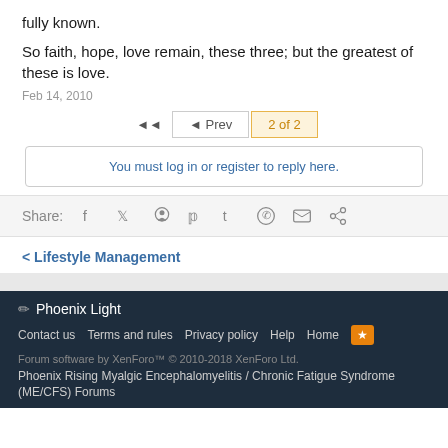fully known.
So faith, hope, love remain, these three; but the greatest of these is love.
Feb 14, 2010
◄◄  ◄ Prev  2 of 2
You must log in or register to reply here.
Share:
< Lifestyle Management
✏ Phoenix Light
Contact us  Terms and rules  Privacy policy  Help  Home  [RSS]
Forum software by XenForo™ © 2010-2018 XenForo Ltd.
Phoenix Rising Myalgic Encephalomyelitis / Chronic Fatigue Syndrome (ME/CFS) Forums